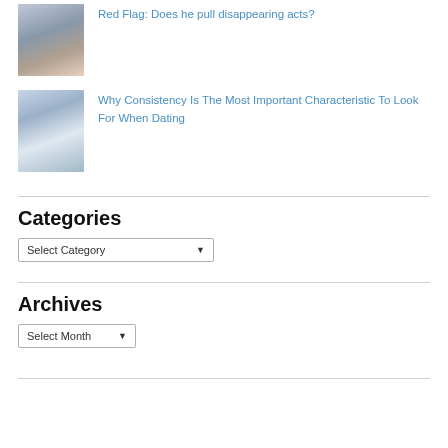[Figure (photo): Thumbnail photo of a person leaning over, wearing a patterned shirt]
Red Flag: Does he pull disappearing acts?
[Figure (photo): Thumbnail photo of a person sitting on a bed with blue bedding]
Why Consistency Is The Most Important Characteristic To Look For When Dating
Categories
Select Category
Archives
Select Month